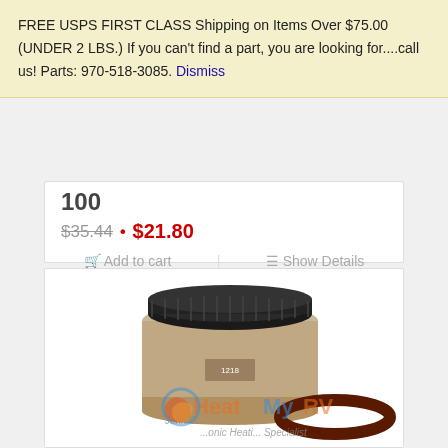FREE USPS FIRST CLASS Shipping on Items Over $75.00 (UNDER 2 LBS.) If you can't find a part, you are looking for....call us! Parts: 970-518-3085. Dismiss
100
$35.44 • $21.80
Add to cart | Show Details
[Figure (photo): Product photo showing a beige cylindrical water heater part (threaded cap/anode rod housing) with a black rubber O-ring beside it. HeatMyRV logo watermark overlaid on the image.]